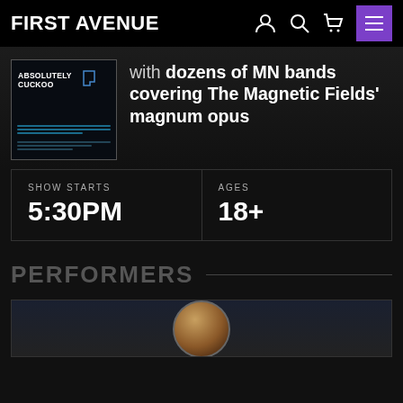FIRST AVENUE
[Figure (screenshot): Absolutely Cuckoo event poster thumbnail with dark background and Minnesota outline icon]
with dozens of MN bands covering The Magnetic Fields’ magnum opus
| SHOW STARTS | AGES |
| --- | --- |
| 5:30PM | 18+ |
PERFORMERS
[Figure (photo): Partial performer headshot photo at bottom of page]